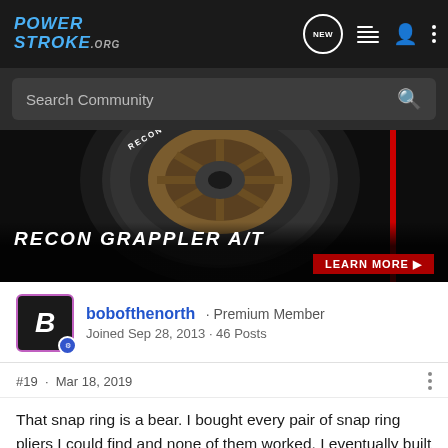PowerStroke.org — navigation bar with NEW, list, user, and menu icons
Search Community
[Figure (photo): Advertisement banner for Nitto Recon Grappler A/T tire showing close-up of the tire tread and wheel with dark background. Text reads 'RECON GRAPPLER A/T' and 'LEARN MORE ▶']
bobofthenorth · Premium Member
Joined Sep 28, 2013 · 46 Posts
#19 · Mar 18, 2019
That snap ring is a bear. I bought every pair of snap ring pliers I could find and none of them worked. I eventually built a set with really long handles - like 18 or 20 inches long. They're ugly and crude as hell but they worked where nothing else did. The zip tie idea looks like a winner for putting the snap ring back in but